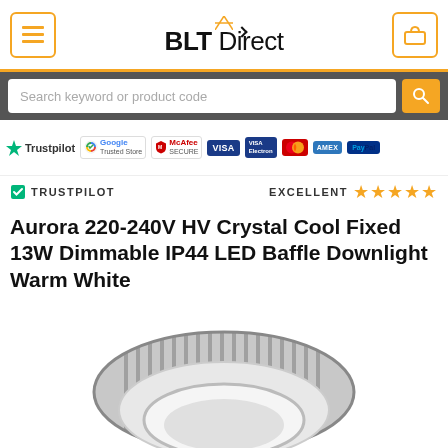BLT Direct
Search keyword or product code
[Figure (infographic): Trust badges: Trustpilot, Google Trusted Store, McAfee Secure, VISA, VISA Electron, Mastercard, AMEX, PayPal]
✓ TRUSTPILOT   EXCELLENT ★★★★★
Aurora 220-240V HV Crystal Cool Fixed 13W Dimmable IP44 LED Baffle Downlight Warm White
[Figure (photo): Aurora LED Baffle Downlight product photo showing circular LED downlight with silver heat sink fins and white baffle, viewed from above at an angle]